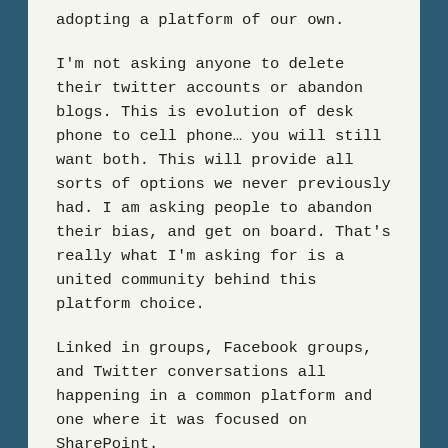adopting a platform of our own.
I'm not asking anyone to delete their twitter accounts or abandon blogs. This is evolution of desk phone to cell phone… you will still want both. This will provide all sorts of options we never previously had. I am asking people to abandon their bias, and get on board. That's really what I'm asking for is a united community behind this platform choice.
Linked in groups, Facebook groups, and Twitter conversations all happening in a common platform and one where it was focused on SharePoint.
High Level overview of the Proposal
TheSharePointCommunity.com – The SharePoint community on Yammer.com. Much of the conversations we have on Twitter.com can be